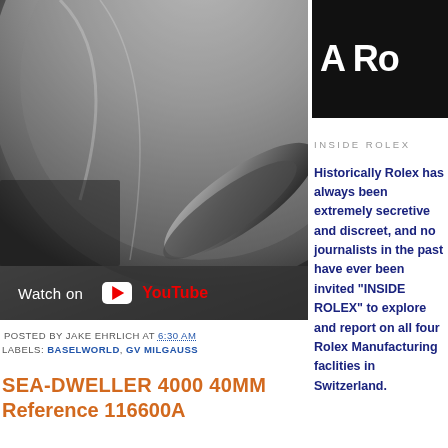[Figure (photo): Close-up photo of a Rolex watch case (bezel and crown), polished steel, with a YouTube overlay bar at the bottom reading 'Watch on YouTube']
POSTED BY JAKE EHRLICH AT 6:30 AM
LABELS: BASELWORLD, GV MILGAUSS
SEA-DWELLER 4000 40MM
Reference 116600A
[Figure (logo): Black banner with white bold text 'A Ro' (partial, cropped)]
INSIDE ROLEX
Historically Rolex has always been extremely secretive and discreet, and no journalists in the past have ever been invited "INSIDE ROLEX" to explore and report on all four Rolex Manufacturing faclities in Switzerland.